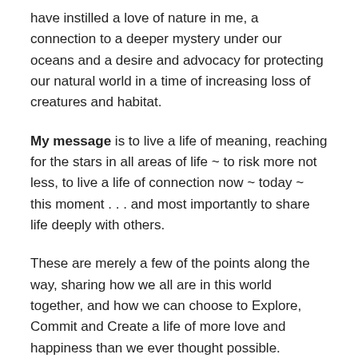have instilled a love of nature in me, a connection to a deeper mystery under our oceans and a desire and advocacy for protecting our natural world in a time of increasing loss of creatures and habitat.
My message is to live a life of meaning, reaching for the stars in all areas of life ~ to risk more not less, to live a life of connection now ~ today ~ this moment . . . and most importantly to share life deeply with others.
These are merely a few of the points along the way, sharing how we all are in this world together, and how we can choose to Explore, Commit and Create a life of more love and happiness than we ever thought possible.
I am available for keynote speeches, corporate or business meetings, and motivational or inspirational